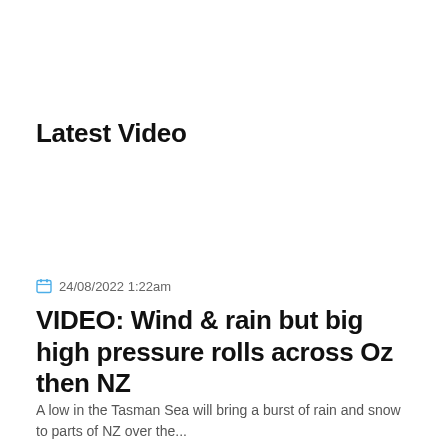Latest Video
24/08/2022 1:22am
VIDEO: Wind & rain but big high pressure rolls across Oz then NZ
A low in the Tasman Sea will bring a burst of rain and snow to parts of NZ over the...